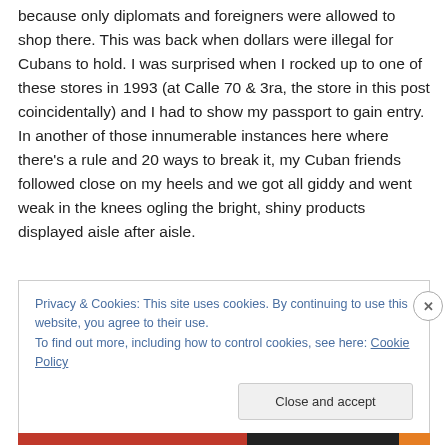because only diplomats and foreigners were allowed to shop there. This was back when dollars were illegal for Cubans to hold. I was surprised when I rocked up to one of these stores in 1993 (at Calle 70 & 3ra, the store in this post coincidentally) and I had to show my passport to gain entry. In another of those innumerable instances here where there's a rule and 20 ways to break it, my Cuban friends followed close on my heels and we got all giddy and went weak in the knees ogling the bright, shiny products displayed aisle after aisle.
Privacy & Cookies: This site uses cookies. By continuing to use this website, you agree to their use.
To find out more, including how to control cookies, see here: Cookie Policy